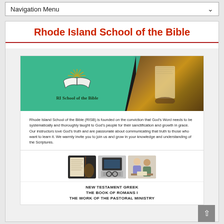Navigation Menu
Rhode Island School of the Bible
[Figure (logo): RI School of the Bible logo with open book and sun rays on green background, alongside a photo of an open book]
Rhode Island School of the Bible (RISB) is founded on the conviction that God's Word needs to be systematically and thoroughly taught to God's people for their sanctification and growth in grace. Our instructors love God's truth and are passionate about communicating that truth to those who want to learn it. We warmly invite you to join us and grow in your knowledge and understanding of the Scriptures.
[Figure (photo): Three photos: a Bible, a laptop with glasses, and two people studying together]
NEW TESTAMENT GREEK
THE BOOK OF ROMANS I
THE WORK OF THE PASTORAL MINISTRY